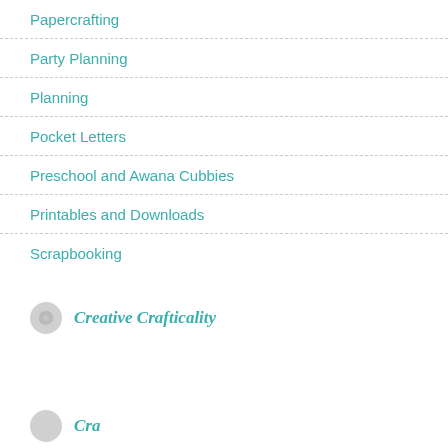Papercrafting
Party Planning
Planning
Pocket Letters
Preschool and Awana Cubbies
Printables and Downloads
Scrapbooking
[Figure (logo): Circular button icon with text Creative Crafticality in teal italic]
[Figure (logo): Circular button icon partially visible at bottom of page]